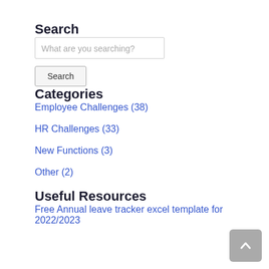Search
[Figure (screenshot): Search input field with placeholder text 'What are you searching?']
[Figure (screenshot): Search button]
Categories
Employee Challenges (38)
HR Challenges (33)
New Functions (3)
Other (2)
Useful Resources
Free Annual leave tracker excel template for 2022/2023